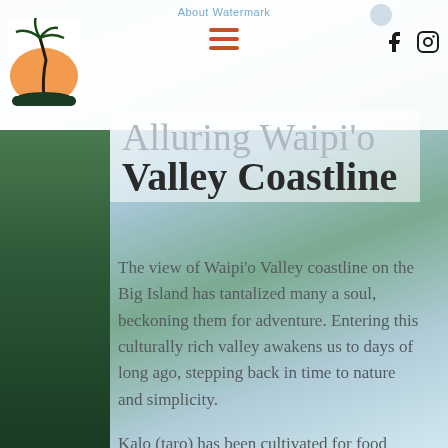About Watermark
Alluring Waipi'o Valley Coastline
The view of Waipi'o Valley coastline on the Big Island has tantalized many a soul, beckoning them for adventure. Entering this culturally rich valley awakens us to days of long ago, stepping back in time to nature and simplicity.
Kalo (taro) has been cultivated for food since ancient times but holds a much